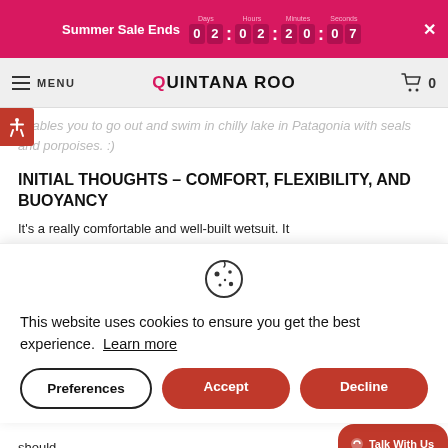Summer Sale Ends 02:02:20:07 ×
MENU QUINTANA ROO 🛒 0
enables you to go out and swim in chilly lake in Patagonia with seals and porpoises. :)
INITIAL THOUGHTS – COMFORT, FLEXIBILITY, AND BUOYANCY
It's a really comfortable and well-built wetsuit. It
[Figure (other): Cookie consent modal with cookie icon, text 'This website uses cookies to ensure you get the best experience. Learn more', and three buttons: Preferences, Accept, Decline]
should